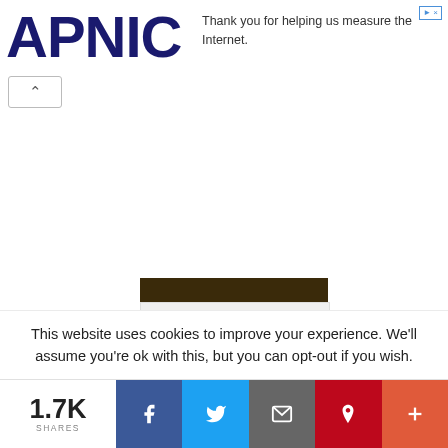APNIC — Thank you for helping us measure the Internet.
[Figure (photo): Book cover showing a bowl of noodles with author name GABRIELE UTZ, with kindle edition badge below]
INGREDIENT INFORMATION
All about Baked Pastry Case
This website uses cookies to improve your experience. We'll assume you're ok with this, but you can opt-out if you wish.
1.7K SHARES